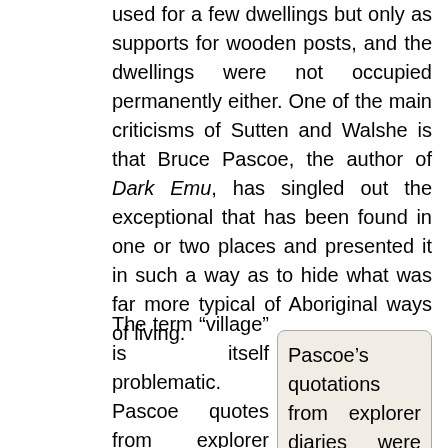used for a few dwellings but only as supports for wooden posts, and the dwellings were not occupied permanently either. One of the main criticisms of Sutten and Walshe is that Bruce Pascoe, the author of Dark Emu, has singled out the exceptional that has been found in one or two places and presented it in such a way as to hide what was far more typical of Aboriginal ways of living.
The term “village” is itself problematic. Pascoe quotes from explorer diaries records of coming across large clusters of dwellings. In my own mind, I reconciled these accounts with what I knew of at least some sort of nomadic or
Pascoe’s quotations from explorer diaries were some of the most interesting highlights of Dark Emu. It was